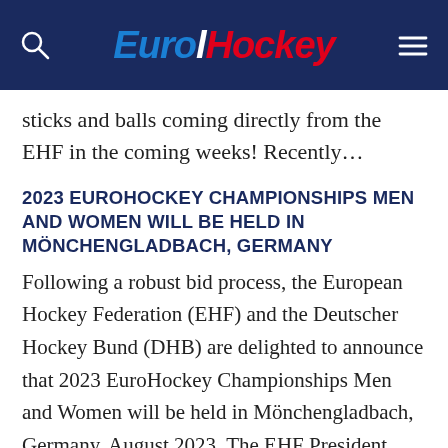EuroHockey
sticks and balls coming directly from the EHF in the coming weeks! Recently…
2023 EUROHOCKEY CHAMPIONSHIPS MEN AND WOMEN WILL BE HELD IN MÖNCHENGLADBACH, GERMANY
Following a robust bid process, the European Hockey Federation (EHF) and the Deutscher Hockey Bund (DHB) are delighted to announce that 2023 EuroHockey Championships Men and Women will be held in Mönchengladbach, Germany, August 2023. The EHF President, Marijke…